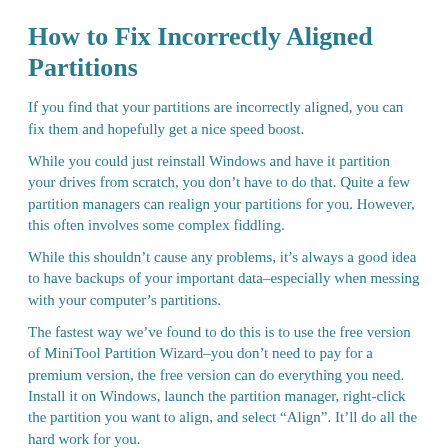How to Fix Incorrectly Aligned Partitions
If you find that your partitions are incorrectly aligned, you can fix them and hopefully get a nice speed boost.
While you could just reinstall Windows and have it partition your drives from scratch, you don’t have to do that. Quite a few partition managers can realign your partitions for you. However, this often involves some complex fiddling.
While this shouldn’t cause any problems, it’s always a good idea to have backups of your important data–especially when messing with your computer’s partitions.
The fastest way we’ve found to do this is to use the free version of MiniTool Partition Wizard–you don’t need to pay for a premium version, the free version can do everything you need. Install it on Windows, launch the partition manager, right-click the partition you want to align, and select “Align”. It’ll do all the hard work for you.